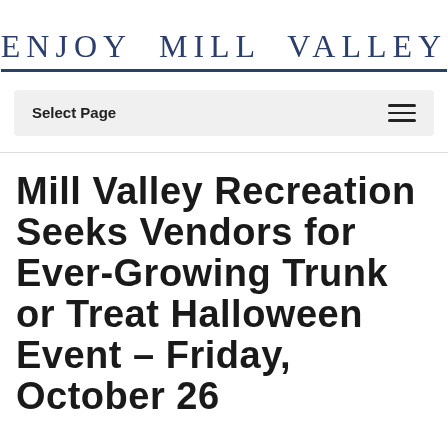ENJOY MILL VALLEY
Select Page
Mill Valley Recreation Seeks Vendors for Ever-Growing Trunk or Treat Halloween Event – Friday, October 26